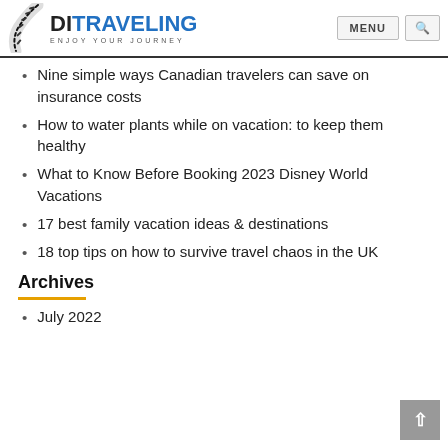DITRAVELING — ENJOY YOUR JOURNEY | MENU | Search
Nine simple ways Canadian travelers can save on insurance costs
How to water plants while on vacation: to keep them healthy
What to Know Before Booking 2023 Disney World Vacations
17 best family vacation ideas & destinations
18 top tips on how to survive travel chaos in the UK
Archives
July 2022